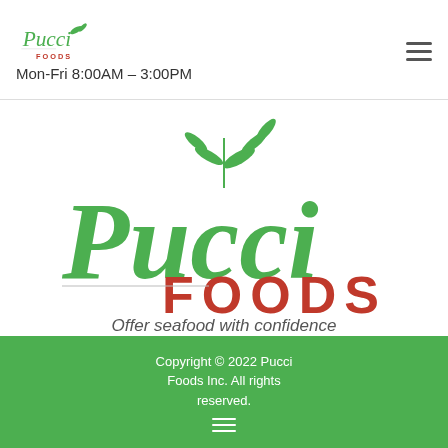[Figure (logo): Pucci Foods small logo in header]
Mon-Fri 8:00AM – 3:00PM
[Figure (logo): Large Pucci Foods logo with green cursive and red FOODS text and wheat/leaf graphic]
Offer seafood with confidence
[Figure (infographic): Social media icons: Facebook, LinkedIn, Instagram, YouTube — all green rounded square backgrounds]
Copyright © 2022 Pucci Foods Inc. All rights reserved.